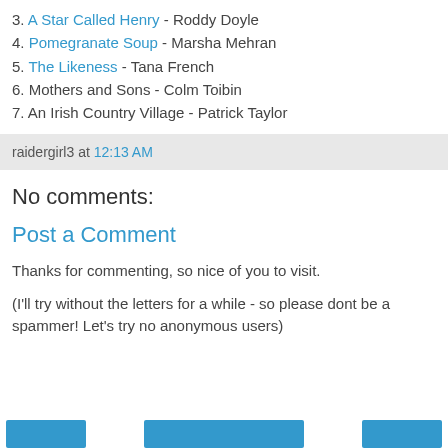3. A Star Called Henry - Roddy Doyle
4. Pomegranate Soup - Marsha Mehran
5. The Likeness - Tana French
6. Mothers and Sons - Colm Toibin
7. An Irish Country Village - Patrick Taylor
raidergirl3 at 12:13 AM
No comments:
Post a Comment
Thanks for commenting, so nice of you to visit.
(I'll try without the letters for a while - so please dont be a spammer! Let's try no anonymous users)